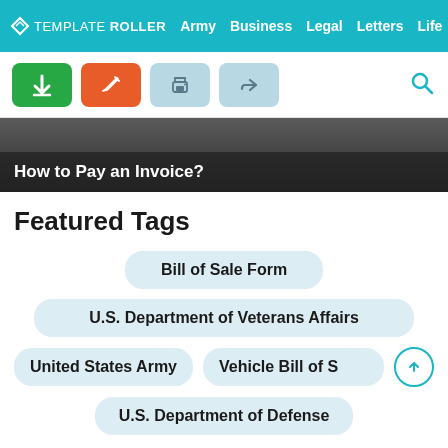TEMPLATEROLLER  Army  Business  Legal  Letters  Life
[Figure (screenshot): Toolbar with download (green), edit (orange), print (light blue), share (light blue) buttons, and search icon]
How to Pay an Invoice?
Featured Tags
Bill of Sale Form
U.S. Department of Veterans Affairs
United States Army
Vehicle Bill of S
U.S. Department of Defense